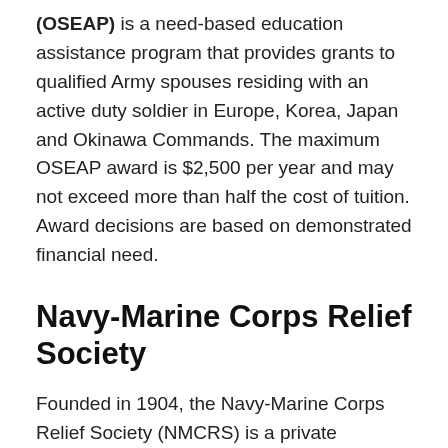(OSEAP) is a need-based education assistance program that provides grants to qualified Army spouses residing with an active duty soldier in Europe, Korea, Japan and Okinawa Commands. The maximum OSEAP award is $2,500 per year and may not exceed more than half the cost of tuition. Award decisions are based on demonstrated financial need.
Navy-Marine Corps Relief Society
Founded in 1904, the Navy-Marine Corps Relief Society (NMCRS) is a private nonprofit organization that provides financial assistance to needy family members of active duty and retired Navy and Marine Corp members. The NMCRS' education programs help eligible family members with at least a 2.0 GPA to purse their academic goals. Award decisions are based solely on